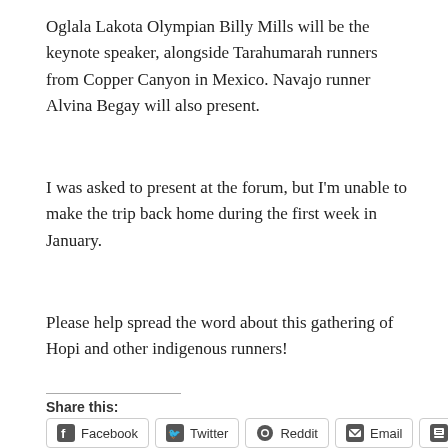Oglala Lakota Olympian Billy Mills will be the keynote speaker, alongside Tarahumarah runners from Copper Canyon in Mexico. Navajo runner Alvina Begay will also present.
I was asked to present at the forum, but I'm unable to make the trip back home during the first week in January.
Please help spread the word about this gathering of Hopi and other indigenous runners!
Share this:
Facebook  Twitter  Reddit  Email  Print